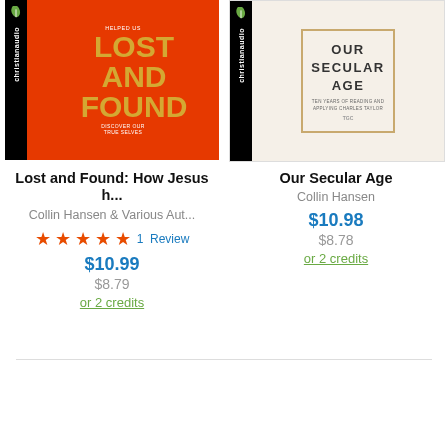[Figure (illustration): Book cover for 'Lost and Found: How Jesus Helped Us Discover Our True Selves' by Collin Hansen. Red background with silhouette of face, gold text, christianaudio logo on left spine.]
Lost and Found: How Jesus h...
Collin Hansen & Various Aut...
★★★★★ 1 Review
$10.99
$8.79
or 2 credits
[Figure (illustration): Book cover for 'Our Secular Age: Ten Years of Reading and Applying Charles Taylor' published by TGC. Cream/beige background with geometric pattern border, text in center box.]
Our Secular Age
Collin Hansen
$10.98
$8.78
or 2 credits